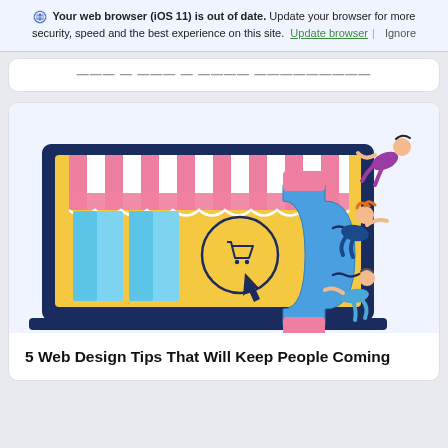Your web browser (iOS 11) is out of date. Update your browser for more security, speed and the best experience on this site. Update browser | Ignore
What it Takes to Make Great Websites
[Figure (illustration): Illustration of a laptop showing an online store with a striped awning and shopping cart icon, with a large blue horseshoe magnet attracting cartoon people flying through the air toward it.]
5 Web Design Tips That Will Keep People Coming